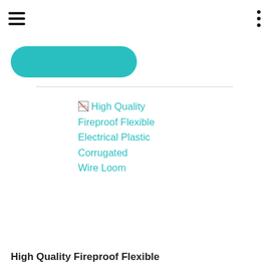Navigation header with hamburger menu and dots menu
[Figure (screenshot): Teal pill-shaped button (partially visible) with teal icon/text area to the right, above a horizontal divider line]
[Figure (photo): Broken image placeholder with alt text link: 'High Quality Fireproof Flexible Electrical Plastic Corrugated Wire Loom']
High Quality Fireproof Flexible